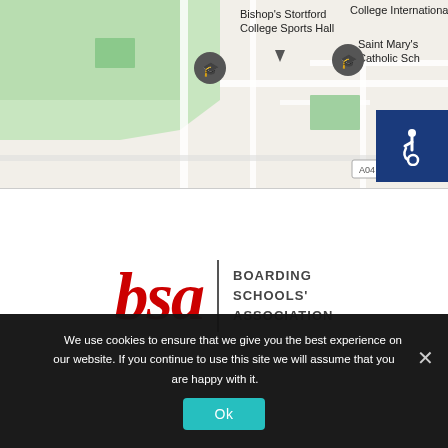[Figure (map): Google Maps screenshot showing Bishop's Stortford College Sports Hall area with two location pins (graduation cap icons) and nearby streets. Also shows partial labels for 'College International...' and 'Saint Mary's Catholic Sch' on the right side.]
[Figure (logo): BSA Boarding Schools' Association logo with large red italic 'bsa' text, a vertical dividing line, and the full name 'BOARDING SCHOOLS' ASSOCIATION' in dark uppercase text to the right.]
We use cookies to ensure that we give you the best experience on our website. If you continue to use this site we will assume that you are happy with it.